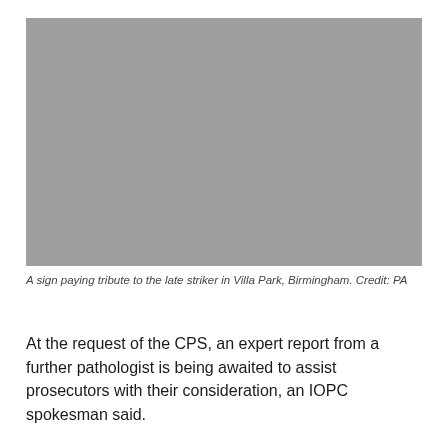[Figure (photo): A grey placeholder photograph, likely showing a sign paying tribute to the late striker at Villa Park, Birmingham.]
A sign paying tribute to the late striker in Villa Park, Birmingham. Credit: PA
At the request of the CPS, an expert report from a further pathologist is being awaited to assist prosecutors with their consideration, an IOPC spokesman said.